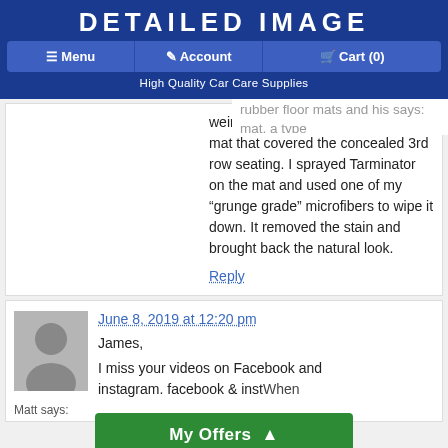DETAILED IMAGE
Menu | Account | Cart (0) | High Quality Car Care Supplies
weird staining on the rear rubber mat that covered the concealed 3rd row seating. I sprayed Tarminator on the mat and used one of my “grunge grade” microfibers to wipe it down. It removed the stain and brought back the natural look.
Reply
June 8, 2019 at 12:20 pm
James,
I miss your videos on Facebook and instagram. facebook & instWhen optimum scrub
Matt says: